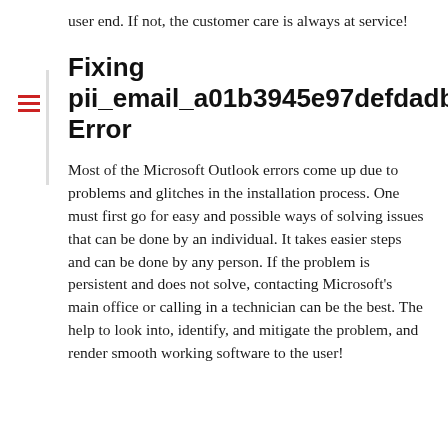user end. If not, the customer care is always at service!
Fixing pii_email_a01b3945e97defdadbc2] Error
Most of the Microsoft Outlook errors come up due to problems and glitches in the installation process. One must first go for easy and possible ways of solving issues that can be done by an individual. It takes easier steps and can be done by any person. If the problem is persistent and does not solve, contacting Microsoft's main office or calling in a technician can be the best. The help to look into, identify, and mitigate the problem, and render smooth working software to the user!